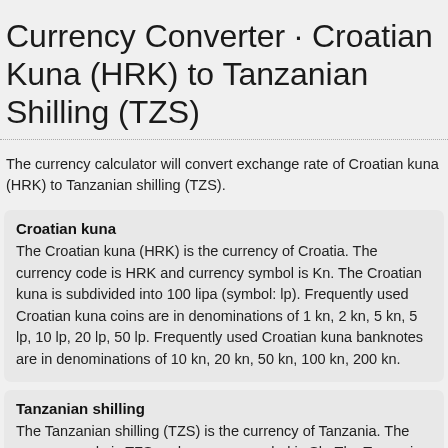Currency Converter · Croatian Kuna (HRK) to Tanzanian Shilling (TZS)
The currency calculator will convert exchange rate of Croatian kuna (HRK) to Tanzanian shilling (TZS).
Croatian kuna
The Croatian kuna (HRK) is the currency of Croatia. The currency code is HRK and currency symbol is Kn. The Croatian kuna is subdivided into 100 lipa (symbol: lp). Frequently used Croatian kuna coins are in denominations of 1 kn, 2 kn, 5 kn, 5 lp, 10 lp, 20 lp, 50 lp. Frequently used Croatian kuna banknotes are in denominations of 10 kn, 20 kn, 50 kn, 100 kn, 200 kn.
Tanzanian shilling
The Tanzanian shilling (TZS) is the currency of Tanzania. The currency code is TZS and currency symbol is Sh. The Tanzanian shilling is